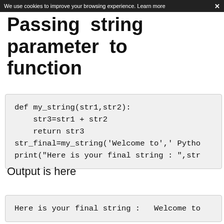We use cookies to improve your browsing experience. Learn more  ×
Passing string parameter to function
[Figure (screenshot): Code block showing Python function definition: def my_string(str1,str2): with str3=str1 + str2, return str3, str_final=my_string('Welcome to',' Pytho... and print("Here is your final string : ",str...]
Output is here
[Figure (screenshot): Output block showing: Here is your final string :   Welcome to]